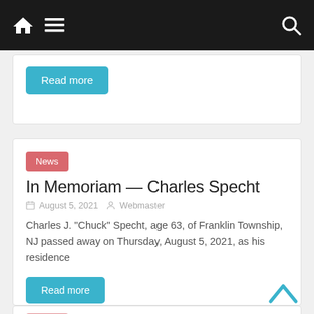Navigation bar with home icon, menu icon, and search icon
Read more
News
In Memoriam — Charles Specht
August 5, 2021   Webmaster
Charles J. “Chuck” Specht, age 63, of Franklin Township, NJ passed away on Thursday, August 5, 2021, as his residence
Read more
News